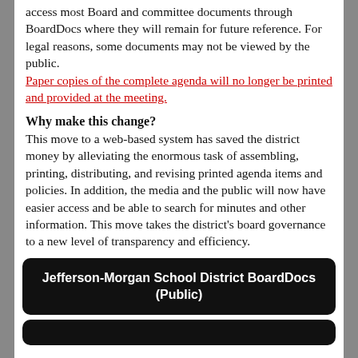access most Board and committee documents through BoardDocs where they will remain for future reference. For legal reasons, some documents may not be viewed by the public. Paper copies of the complete agenda will no longer be printed and provided at the meeting.
Why make this change?
This move to a web-based system has saved the district money by alleviating the enormous task of assembling, printing, distributing, and revising printed agenda items and policies. In addition, the media and the public will now have easier access and be able to search for minutes and other information. This move takes the district's board governance to a new level of transparency and efficiency.
Jefferson-Morgan School District BoardDocs (Public)